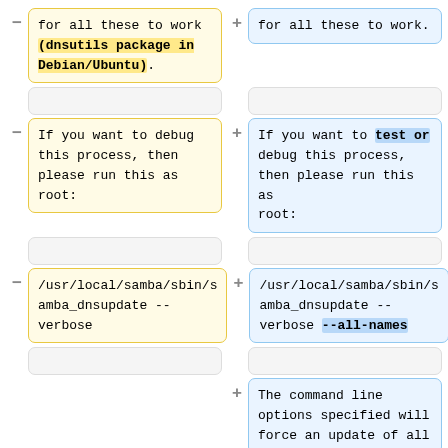[Figure (other): Diff view showing two columns of code/text changes. Left column (yellow, removed '-') and right column (blue, added '+') with highlighted insertions. Row 1: Left box: 'for all these to work (dnsutils package in Debian/Ubuntu).' with yellow highlight on '(dnsutils package in Debian/Ubuntu)'. Right box: 'for all these to work.' Row 2: Empty boxes. Row 3: Left box: 'If you want to debug this process, then please run this as root:'. Right box: 'If you want to test or debug this process, then please run this as root:' with blue highlight on 'test or'. Row 4: Empty boxes. Row 5: Left box (code): '/usr/local/samba/sbin/samba_dnsupdate --verbose'. Right box (code): '/usr/local/samba/sbin/samba_dnsupdate --verbose --all-names' with blue highlight on '--all-names'. Row 6: Empty boxes. Row 7: Right box only: 'The command line options specified will force an update of all']